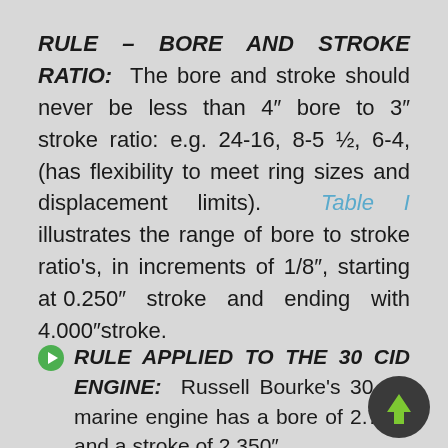RULE – BORE AND STROKE RATIO: The bore and stroke should never be less than 4″ bore to 3″ stroke ratio: e.g. 24-16, 8-5 ½, 6-4, (has flexibility to meet ring sizes and displacement limits). Table I illustrates the range of bore to stroke ratio's, in increments of 1/8″, starting at 0.250″ stroke and ending with 4.000″stroke.
RULE APPLIED TO THE 30 CID ENGINE: Russell Bourke's 30 cid marine engine has a bore of 2.750″ and a stroke of 2.350″